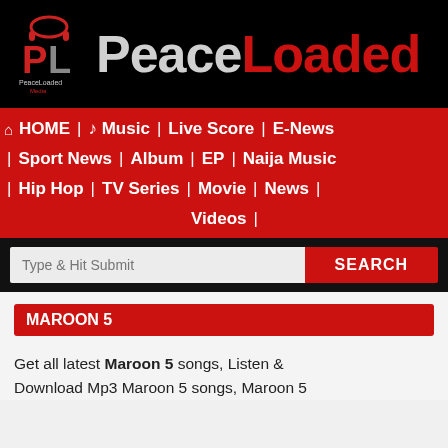[Figure (logo): PeaceLoaded Media logo with red and gray text on black background, red play button icon]
HOME | Music | Live Score | E-News | Sport News | Album | EP | Naija Music | Hip Hop | TV Series | Movie | News | Videos |
Type & Hit Submit  SEARCH
MAROON 5
Get all latest Maroon 5 songs, Listen & Download Mp3 Maroon 5 songs, Maroon 5